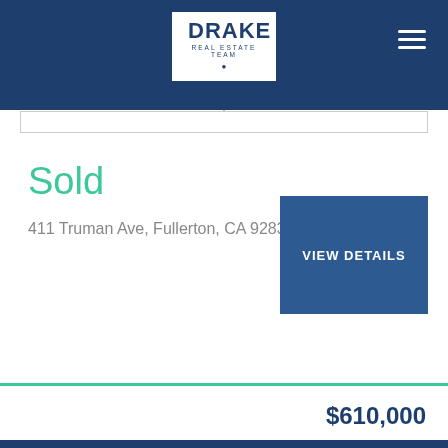DRAKE REAL ESTATE TEAM
Sold
411 Truman Ave, Fullerton, CA 92832
VIEW DETAILS
$610,000